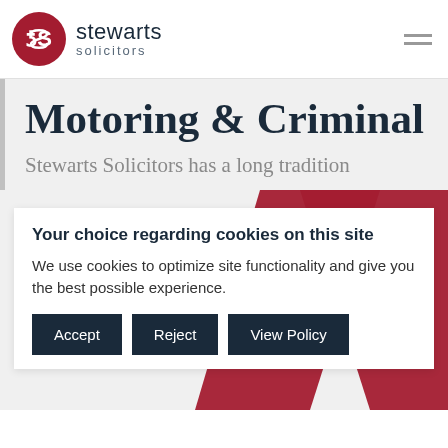stewarts solicitors
Motoring & Criminal
Stewarts Solicitors has a long tradition of…
Your choice regarding cookies on this site
We use cookies to optimize site functionality and give you the best possible experience.
Accept | Reject | View Policy